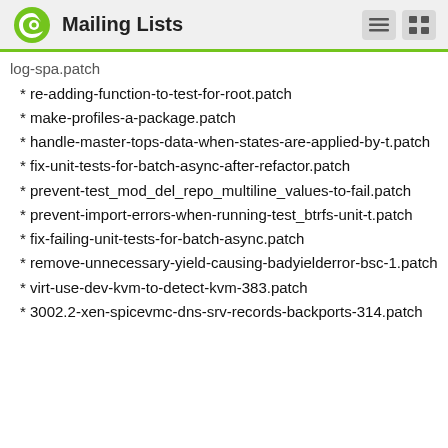Mailing Lists
log-spa.patch
* re-adding-function-to-test-for-root.patch
* make-profiles-a-package.patch
* handle-master-tops-data-when-states-are-applied-by-t.patch
* fix-unit-tests-for-batch-async-after-refactor.patch
* prevent-test_mod_del_repo_multiline_values-to-fail.patch
* prevent-import-errors-when-running-test_btrfs-unit-t.patch
* fix-failing-unit-tests-for-batch-async.patch
* remove-unnecessary-yield-causing-badyielderror-bsc-1.patch
* virt-use-dev-kvm-to-detect-kvm-383.patch
* 3002.2-xen-spicevmc-dns-srv-records-backports-314.patch